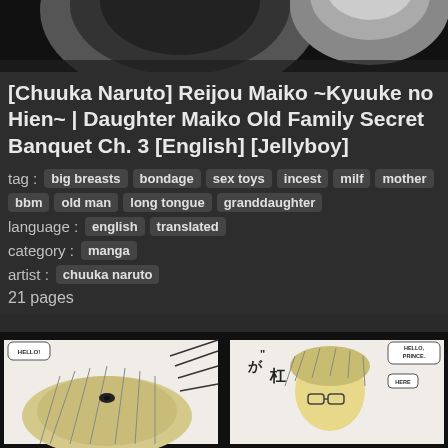[Figure (illustration): Top portion of manga cover image showing dark character silhouettes on black background]
[Chuuka Naruto] Reijou Maiko ~Kyuuke no Hien~ | Daughter Maiko Old Family Secret Banquet Ch. 3 [English] [Jellyboy]
tag :  big breasts  bondage  sex toys  incest  milf  mother  bbm  old man  long tongue  granddaughter
language :  english  translated
category :  manga
artist :  chuuka naruto
21 pages
[Figure (illustration): Bottom manga panel showing two manga frames: left frame with character and HELLO speech bubble, right frame with character and HELLO PRINCE / HERE speech bubbles, with Japanese sound effects]